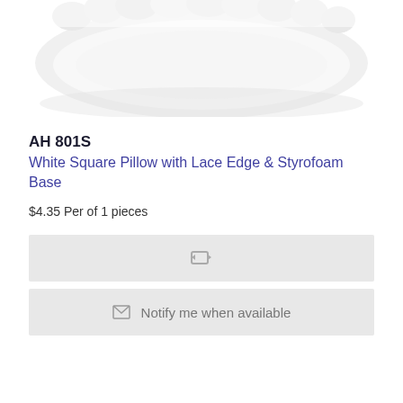[Figure (photo): A white square pillow with lace edge, photographed against a white background, showing the top portion of the pillow with ruffled/textured lace detailing.]
AH 801S
White Square Pillow with Lace Edge & Styrofoam Base
$4.35 Per of 1 pieces
[Figure (other): Refresh/repeat icon button in a light gray button area]
Notify me when available